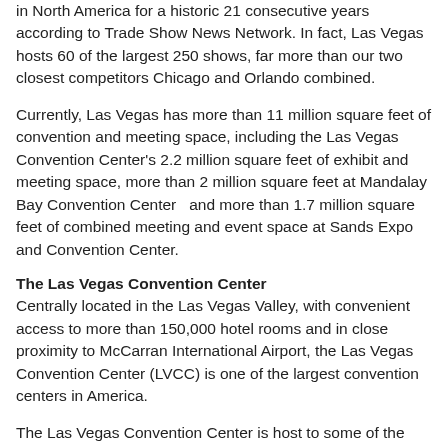in North America for a historic 21 consecutive years according to Trade Show News Network. In fact, Las Vegas hosts 60 of the largest 250 shows, far more than our two closest competitors Chicago and Orlando combined.
Currently, Las Vegas has more than 11 million square feet of convention and meeting space, including the Las Vegas Convention Center's 2.2 million square feet of exhibit and meeting space, more than 2 million square feet at Mandalay Bay Convention Center  and more than 1.7 million square feet of combined meeting and event space at Sands Expo and Convention Center.
The Las Vegas Convention Center
Centrally located in the Las Vegas Valley, with convenient access to more than 150,000 hotel rooms and in close proximity to McCarran International Airport, the Las Vegas Convention Center (LVCC) is one of the largest convention centers in America.
The Las Vegas Convention Center is host to some of the largest